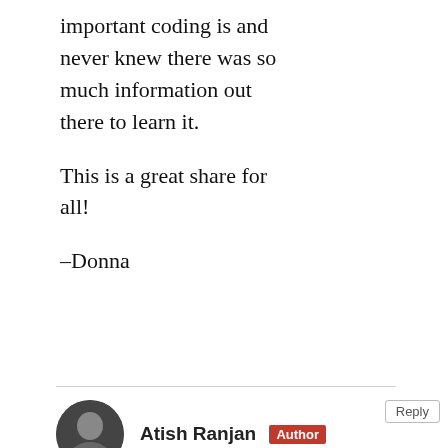important coding is and never knew there was so much information out there to learn it.

This is a great share for all!

–Donna
Atish Ranjan [Author] [Reply]
Thanks for stopping by Donna. Coding is indeed important